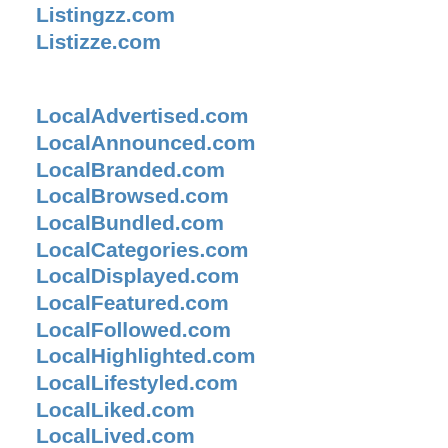Listingzz.com
Listizze.com
LocalAdvertised.com
LocalAnnounced.com
LocalBranded.com
LocalBrowsed.com
LocalBundled.com
LocalCategories.com
LocalDisplayed.com
LocalFeatured.com
LocalFollowed.com
LocalHighlighted.com
LocalLifestyled.com
LocalLiked.com
LocalLived.com
LocalMarketed.com